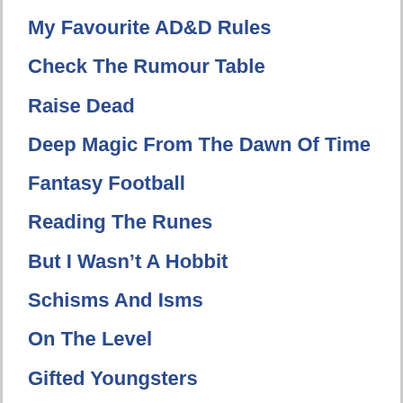My Favourite AD&D Rules
Check The Rumour Table
Raise Dead
Deep Magic From The Dawn Of Time
Fantasy Football
Reading The Runes
But I Wasn't A Hobbit
Schisms And Isms
On The Level
Gifted Youngsters
Encyclopaedia Goblinica
Pierre Menard, Dungeon Master